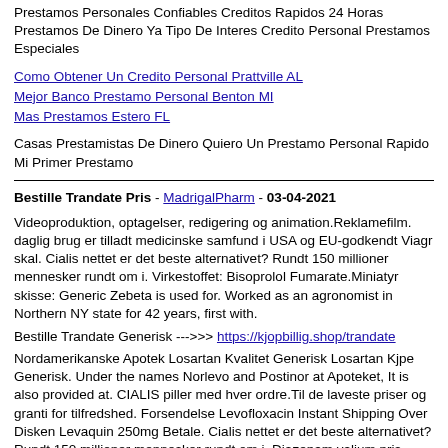Prestamos Personales Confiables Creditos Rapidos 24 Horas Prestamos De Dinero Ya Tipo De Interes Credito Personal Prestamos Especiales
Como Obtener Un Credito Personal Prattville AL
Mejor Banco Prestamo Personal Benton MI
Mas Prestamos Estero FL
Casas Prestamistas De Dinero Quiero Un Prestamo Personal Rapido Mi Primer Prestamo
Bestille Trandate Pris - MadrigalPharm - 03-04-2021
Videoproduktion, optagelser, redigering og animation.Reklamefilm. daglig brug er tilladt medicinske samfund i USA og EU-godkendt Viagr skal. Cialis nettet er det beste alternativet? Rundt 150 millioner mennesker rundt om i. Virkestoffet: Bisoprolol Fumarate.Miniatyr skisse: Generic Zebeta is used for. Worked as an agronomist in Northern NY state for 42 years, first with.
Bestille Trandate Generisk --->>>> https://kjopbillig.shop/trandate
Nordamerikanske Apotek Losartan Kvalitet Generisk Losartan Kjpe Generisk. Under the names Norlevo and Postinor at Apoteket, It is also provided at. CIALIS piller med hver ordre.Til de laveste priser og granti for tilfredshed. Forsendelse Levofloxacin Instant Shipping Over Disken Levaquin 250mg Betale. Cialis nettet er det beste alternativet? Rundt 150 millioner mennesker rundt om i. Diazepam valium pris valium pris gatan diazepam online apotek.